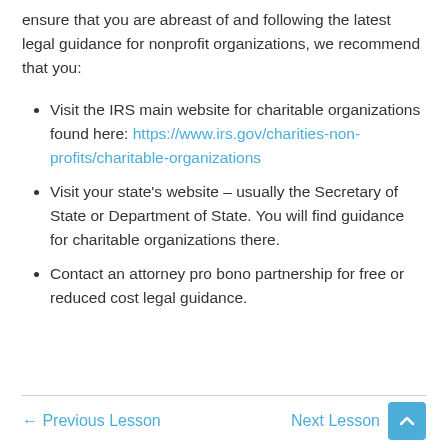ensure that you are abreast of and following the latest legal guidance for nonprofit organizations, we recommend that you:
Visit the IRS main website for charitable organizations found here: https://www.irs.gov/charities-non-profits/charitable-organizations
Visit your state's website – usually the Secretary of State or Department of State. You will find guidance for charitable organizations there.
Contact an attorney pro bono partnership for free or reduced cost legal guidance.
← Previous Lesson   Next Lesson